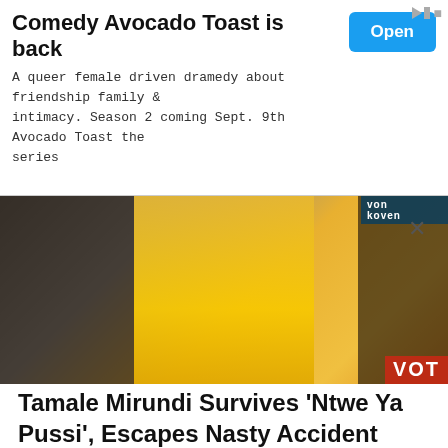[Figure (screenshot): Advertisement banner for Comedy Avocado Toast with Open button]
Comedy Avocado Toast is back
A queer female driven dramedy about friendship family & intimacy. Season 2 coming Sept. 9th Avocado Toast the series
[Figure (photo): Person in yellow hoodie holding a blue pen, with a red VOT overlay and a dark banner in the background]
Tamale Mirundi Survives ‘Ntwe Ya Pussi’, Escapes Nasty Accident
[Figure (photo): Man in red blazer and yellow cap at a TV studio desk, with a VE AT 9 banner]